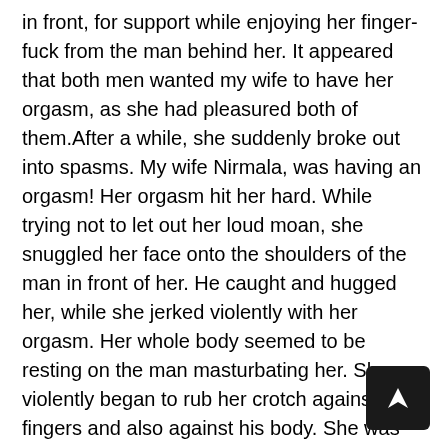in front, for support while enjoying her finger-fuck from the man behind her. It appeared that both men wanted my wife to have her orgasm, as she had pleasured both of them.After a while, she suddenly broke out into spasms. My wife Nirmala, was having an orgasm! Her orgasm hit her hard. While trying not to let out her loud moan, she snuggled her face onto the shoulders of the man in front of her. He caught and hugged her, while she jerked violently with her orgasm. Her whole body seemed to be resting on the man masturbating her. She violently began to rub her crotch against his fingers and also against his body. She was oblivious to everyone, until her orgasm subsided. And when it did subside, she came crashing back to reality. I could see she was feeling very ashamed. She was even too shy to look at the two men. She couldn't raise her head or look at anyone. Luckily she didn't have to bear the discomfort for long. Our bus stop arrived within minutes. A few people got down there. She looked
[Figure (other): Navigation button with arrow pointing up-right, dark background, rounded corners, bottom-right corner of page]